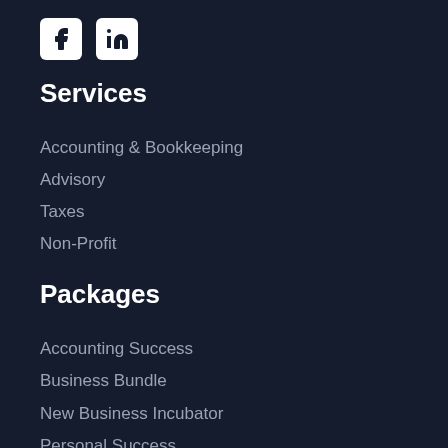[Figure (logo): Facebook and LinkedIn social media icon buttons (white icons on white rounded square backgrounds)]
Services
Accounting & Bookkeeping
Advisory
Taxes
Non-Profit
Packages
Accounting Success
Business Bundle
New Business Incubator
Personal Success
Resources